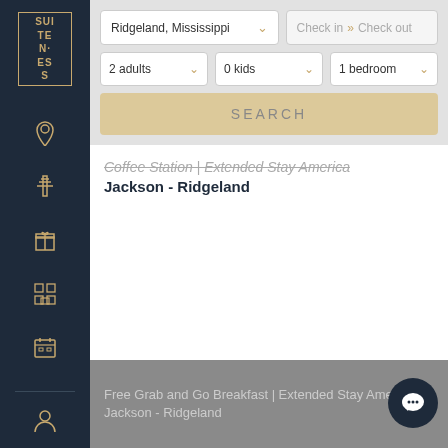[Figure (screenshot): Suiteness logo in gold on dark navy sidebar]
[Figure (screenshot): Navigation icons on dark navy sidebar: location pin, airport/tower, gift, building grid, calendar/list]
Ridgeland, Mississippi
Check in > Check out
2 adults
0 kids
1 bedroom
SEARCH
Coffee Station | Extended Stay America Jackson - Ridgeland
[Figure (screenshot): Free Grab and Go Breakfast | Extended Stay America - Jackson - Ridgeland - partially visible image]
[Figure (screenshot): Chat bubble icon in dark navy circle]